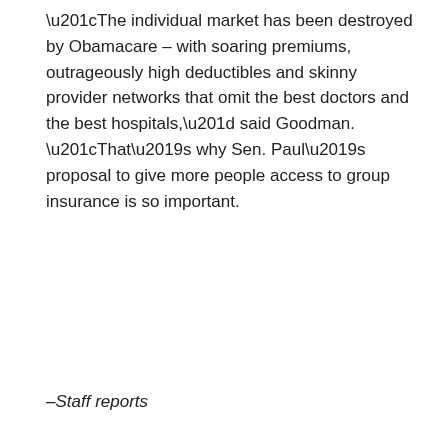“The individual market has been destroyed by Obamacare – with soaring premiums, outrageously high deductibles and skinny provider networks that omit the best doctors and the best hospitals,” said Goodman. “That’s why Sen. Paul’s proposal to give more people access to group insurance is so important.
–Staff reports
TAGS  health insurance  Healthshares Plans Act
[Figure (other): Social sharing buttons: Facebook, Twitter, and a plus/more button]